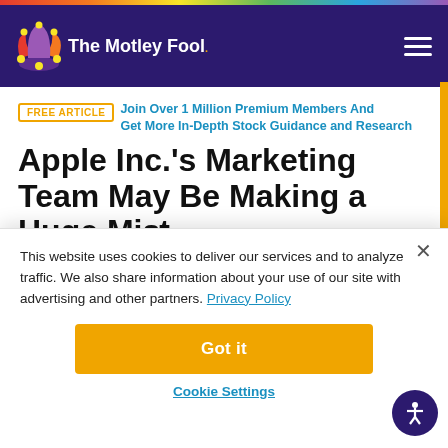The Motley Fool
FREE ARTICLE  Join Over 1 Million Premium Members And Get More In-Depth Stock Guidance and Research
Apple Inc.'s Marketing Team May Be Making a Huge Mistake
This website uses cookies to deliver our services and to analyze traffic. We also share information about your use of our site with advertising and other partners. Privacy Policy
Got it
Cookie Settings